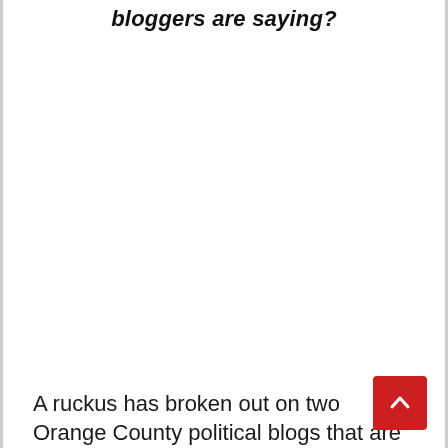bloggers are saying?
A ruckus has broken out on two Orange County political blogs that are